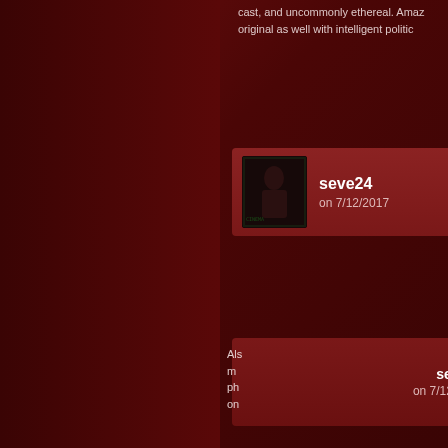cast, and uncommonly ethereal. Amaz... original as well with intelligent politic...
seve24 on 7/12/2017 Gr... of ... re...
seve24 on 7/12/2017 Als... m... ph... on... situation is great too and the pacing o... and caught me off guard. Most people are just critisizing it based on what the be and not actually on what the movie
Cman15 on 11/18/2020 Po... ha...